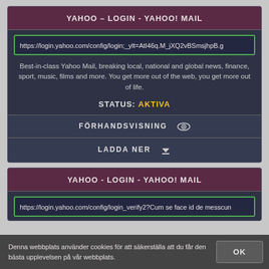YAHOO – LOGIN - YAHOO! MAIL
https://login.yahoo.com/config/login;_ylt=AtI46q.M_jXQ2vBSmsjhpB.g
Best-in-class Yahoo Mail, breaking local, national and global news, finance, sport, music, films and more. You get more out of the web, you get more out of life.
STATUS: AKTIVA
FÖRHANDSVISNING 👁
LADDA NER ⬇
YAHOO - LOGIN - YAHOO! MAIL
https://login.yahoo.com/config/login_verify2?Cum se face id de messcun
Denna webbplats använder cookies för att säkerställa att du får den bästa upplevelsen på vår webbplats.